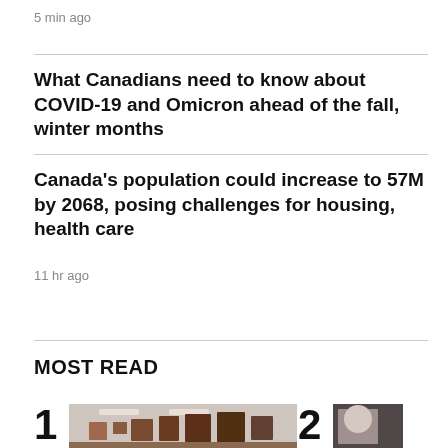5 min ago
What Canadians need to know about COVID-19 and Omicron ahead of the fall, winter months
Canada's population could increase to 57M by 2068, posing challenges for housing, health care
11 hr ago
MOST READ
[Figure (photo): Interior room with artwork/tapestries on walls, labeled as item 1]
[Figure (photo): Partial photo, labeled as item 2]